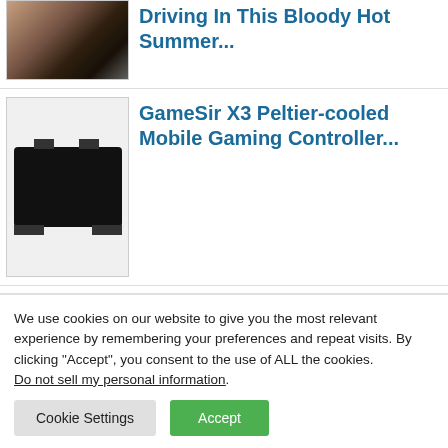[Figure (photo): Thumbnail image of person driving in summer heat]
Driving In This Bloody Hot Summer...
[Figure (photo): Thumbnail image of GameSir X3 Peltier-cooled Mobile Gaming Controller, black device on light background]
GameSir X3 Peltier-cooled Mobile Gaming Controller...
[Figure (photo): Thumbnail image of Corsair memory product]
Memory Maker Corsair's
We use cookies on our website to give you the most relevant experience by remembering your preferences and repeat visits. By clicking “Accept”, you consent to the use of ALL the cookies.
Do not sell my personal information.